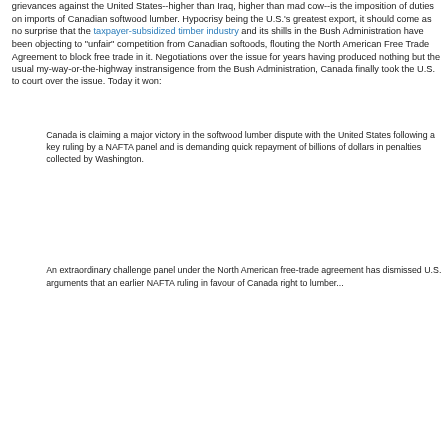grievances against the United States--higher than Iraq, higher than mad cow--is the imposition of duties on imports of Canadian softwood lumber. Hypocrisy being the U.S.'s greatest export, it should come as no surprise that the taxpayer-subsidized timber industry and its shills in the Bush Administration have been objecting to "unfair" competition from Canadian softoods, flouting the North American Free Trade Agreement to block free trade in it. Negotiations over the issue for years having produced nothing but the usual my-way-or-the-highway instransigence from the Bush Administration, Canada finally took the U.S. to court over the issue. Today it won:
Canada is claiming a major victory in the softwood lumber dispute with the United States following a key ruling by a NAFTA panel and is demanding quick repayment of billions of dollars in penalties collected by Washington.
An extraordinary challenge panel under the North American free-trade agreement has dismissed U.S. arguments that an earlier NAFTA ruling in favour of Canada right to lumber...